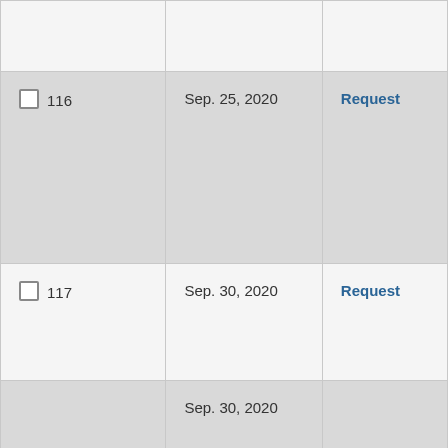|  | Date | Action |
| --- | --- | --- |
|  |  |  |
| ☐ 116 | Sep. 25, 2020 | Request |
| ☐ 117 | Sep. 30, 2020 | Request |
|  | Sep. 30, 2020 |  |
| ☐ 118 | Oct. 01, 2020 | Request |